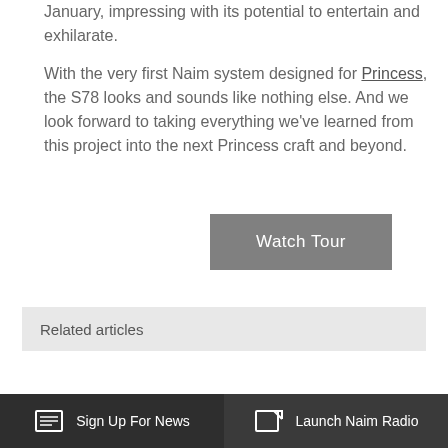January, impressing with its potential to entertain and exhilarate.

With the very first Naim system designed for Princess, the S78 looks and sounds like nothing else. And we look forward to taking everything we've learned from this project into the next Princess craft and beyond.
Watch Tour
Related articles
Sign Up For News
Launch Naim Radio